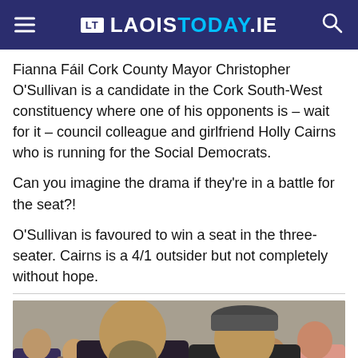LT LAOISTODAY.IE
Fianna Fáil Cork County Mayor Christopher O'Sullivan is a candidate in the Cork South-West constituency where one of his opponents is – wait for it – council colleague and girlfriend Holly Cairns who is running for the Social Democrats.
Can you imagine the drama if they're in a battle for the seat?!
O'Sullivan is favoured to win a seat in the three-seater. Cairns is a 4/1 outsider but not completely without hope.
[Figure (photo): Two men standing in a crowded hall, one bearded and one wearing a flat cap, both smiling at camera.]